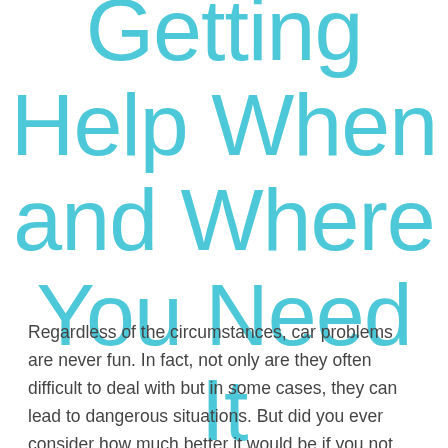Getting Help When and Where You Need It
Regardless of the circumstances, car problems are never fun. In fact, not only are they often difficult to deal with but in some cases, they can lead to dangerous situations. But did you ever consider how much better it would be if you not only had access to someone who could come to you but if that person